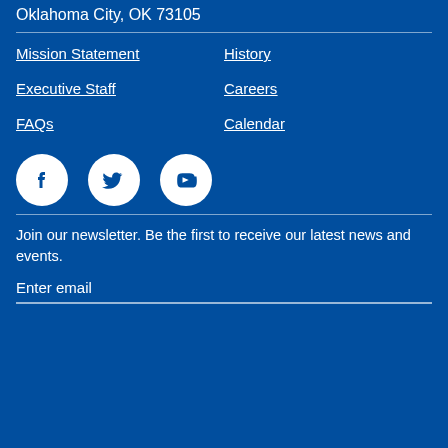Oklahoma City, OK 73105
Mission Statement
History
Executive Staff
Careers
FAQs
Calendar
[Figure (infographic): Three social media icons in white circles on blue background: Facebook, Twitter, YouTube]
Join our newsletter. Be the first to receive our latest news and events.
Enter email